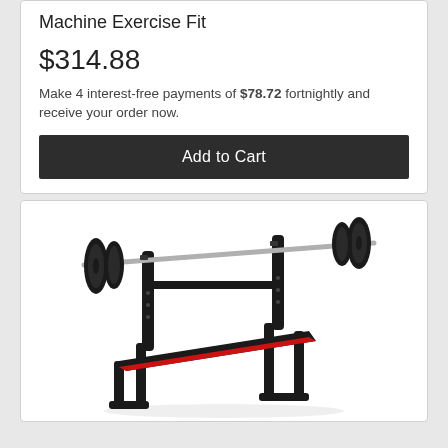Machine Exercise Fit
$314.88
Make 4 interest-free payments of $78.72 fortnightly and receive your order now.
Add to Cart
[Figure (photo): A weight bench press machine with barbell and weight plates, black frame with red padding on the bench seat, shown at a slight angle.]